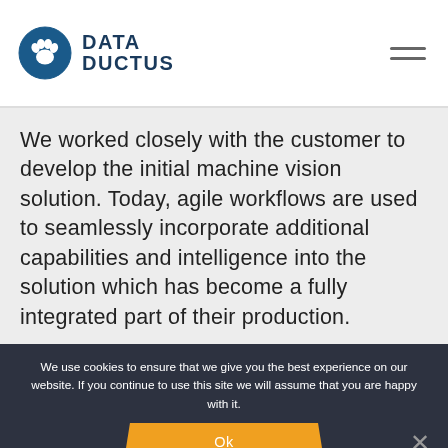[Figure (logo): Data Ductus logo with circular icon containing a paw print and company name 'DATA DUCTUS' in dark blue]
We worked closely with the customer to develop the initial machine vision solution. Today, agile workflows are used to seamlessly incorporate additional capabilities and intelligence into the solution which has become a fully integrated part of their production.
We use cookies to ensure that we give you the best experience on our website. If you continue to use this site we will assume that you are happy with it.
Ok
Read more